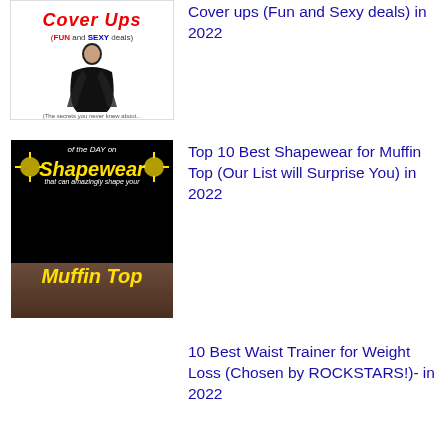[Figure (photo): Thumbnail image for Cover Ups article showing a woman in a black bikini cover-up with red text 'Cover Ups' and subtitle '(FUN and SEXY deals)']
Cover Ups (Fun and Sexy deals) in 2022
[Figure (photo): Thumbnail image for Shapewear article with black background, yellow text 'Shapewear' and 'Muffin Top', white text 'of the DAY on' and 'that can amazingly shape your']
Top 10 Best Shapewear for Muffin Top (Our List will Surprise You) in 2022
10 Best Waist Trainer for Weight Loss (Chosen by ROCKSTARS!)- in 2022